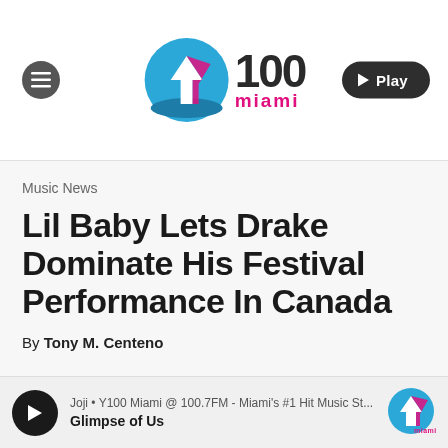[Figure (logo): Y100 Miami radio station logo with circular blue graphic, '100' in large text and 'miami' in pink below]
Music News
Lil Baby Lets Drake Dominate His Festival Performance In Canada
By Tony M. Centeno
[Figure (other): Audio player bar: Joji • Y100 Miami @ 100.7FM - Miami's #1 Hit Music St... | Glimpse of Us | Y100 Miami logo]